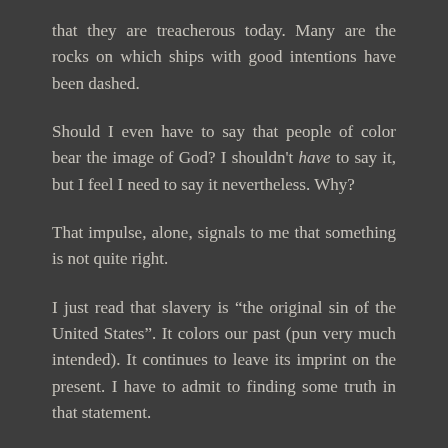that they are treacherous today. Many are the rocks on which ships with good intentions have been dashed.
Should I even have to say that people of color bear the image of God? I shouldn't have to say it, but I feel I need to say it nevertheless. Why?
That impulse, alone, signals to me that something is not quite right.
I just read that slavery is “the original sin of the United States”. It colors our past (pun very much intended). It continues to leave its imprint on the present. I have to admit to finding some truth in that statement.